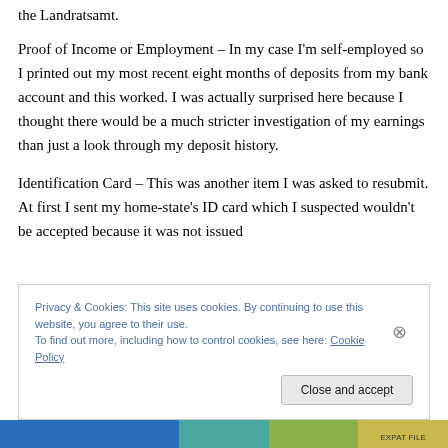the Landratsamt.
Proof of Income or Employment – In my case I'm self-employed so I printed out my most recent eight months of deposits from my bank account and this worked. I was actually surprised here because I thought there would be a much stricter investigation of my earnings than just a look through my deposit history.
Identification Card – This was another item I was asked to resubmit. At first I sent my home-state's ID card which I suspected wouldn't be accepted because it was not issued
Privacy & Cookies: This site uses cookies. By continuing to use this website, you agree to their use.
To find out more, including how to control cookies, see here: Cookie Policy
Close and accept